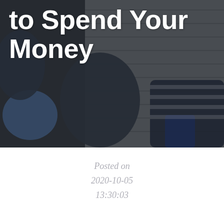[Figure (photo): Overhead/top-down photo of people sitting on a wooden deck or boardwalk, partially visible. Background is dark with muted blues and grays. White bold text overlaid reads 'to Spend Your Money'.]
to Spend Your Money
Posted on
2020-10-05
13:30:03